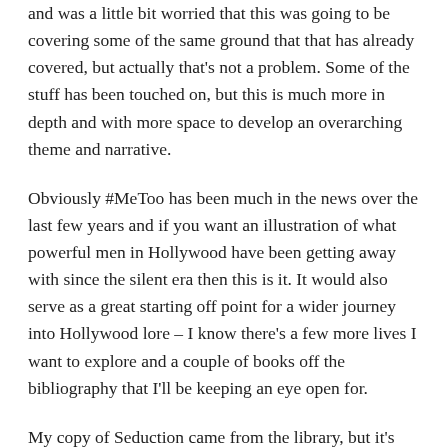and was a little bit worried that this was going to be covering some of the same ground that that has already covered, but actually that's not a problem. Some of the stuff has been touched on, but this is much more in depth and with more space to develop an overarching theme and narrative.
Obviously #MeToo has been much in the news over the last few years and if you want an illustration of what powerful men in Hollywood have been getting away with since the silent era then this is it. It would also serve as a great starting off point for a wider journey into Hollywood lore – I know there's a few more lives I want to explore and a couple of books off the bibliography that I'll be keeping an eye open for.
My copy of Seduction came from the library, but it's out now in hardback, Kindle and Kobo as well as audiobook read by Longworth. NB: if you haven't listened to her podcast, she's